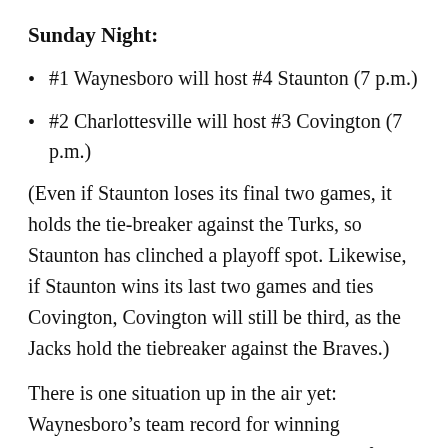Sunday Night:
#1 Waynesboro will host #4 Staunton (7 p.m.)
#2 Charlottesville will host #3 Covington (7 p.m.)
(Even if Staunton loses its final two games, it holds the tie-breaker against the Turks, so Staunton has clinched a playoff spot. Likewise, if Staunton wins its last two games and ties Covington, Covington will still be third, as the Jacks hold the tiebreaker against the Braves.)
There is one situation up in the air yet: Waynesboro’s team record for winning percentage. The team’s best record in all of history is 30-12, set in 2016. If the 2019 iteration wins both remaining games, the team record will be set! (Waynesboro was established as a franchise